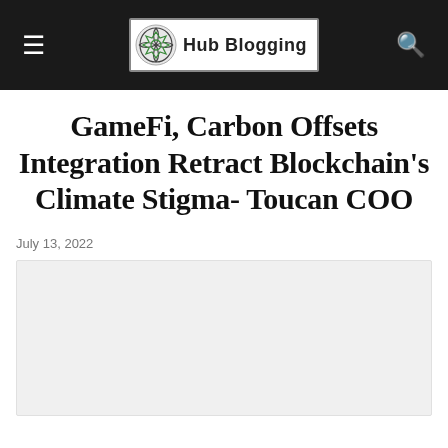Hub Blogging
GameFi, Carbon Offsets Integration Retract Blockchain's Climate Stigma- Toucan COO
July 13, 2022
[Figure (photo): Article featured image placeholder (light gray box)]